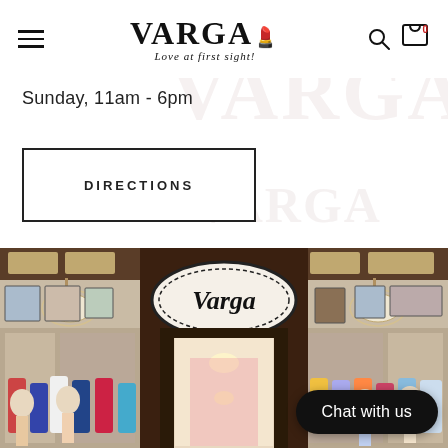VARGA - Love at first sight!
Sunday, 11am - 6pm
DIRECTIONS
[Figure (photo): Exterior/entrance of Varga boutique store showing ornate oval sign with 'Varga' text, chandeliers, and colorful merchandise inside]
Chat with us